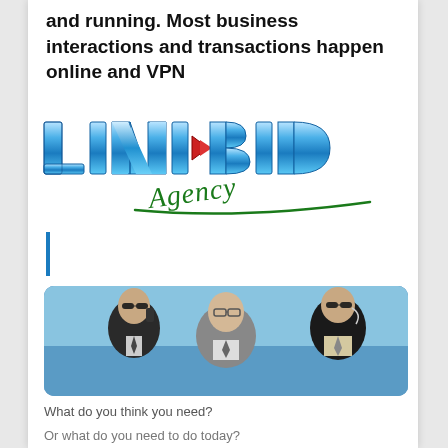and running. Most business interactions and transactions happen online and VPN
[Figure (logo): LINKBID Agency logo — LINKBID in metallic blue block letters with a red arrow/chevron, 'Agency' in green cursive script below]
[Figure (photo): Three businessmen in suits and sunglasses standing against a blue sky, one talking on a phone]
What do you think you need?
Or what do you need to do today?